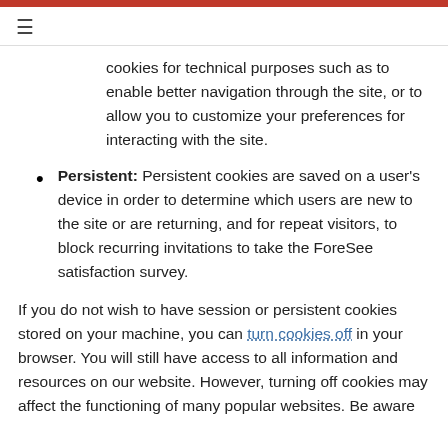≡
cookies for technical purposes such as to enable better navigation through the site, or to allow you to customize your preferences for interacting with the site.
Persistent: Persistent cookies are saved on a user's device in order to determine which users are new to the site or are returning, and for repeat visitors, to block recurring invitations to take the ForeSee satisfaction survey.
If you do not wish to have session or persistent cookies stored on your machine, you can turn cookies off in your browser. You will still have access to all information and resources on our website. However, turning off cookies may affect the functioning of many popular websites. Be aware